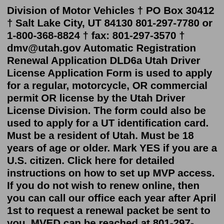Division of Motor Vehicles † PO Box 30412 † Salt Lake City, UT 84130 801-297-7780 or 1-800-368-8824 † fax: 801-297-3570 † dmv@utah.gov Automatic Registration Renewal Application DLD6a Utah Driver License Application Form is used to apply for a regular, motorcycle, OR commercial permit OR license by the Utah Driver License Division. The form could also be used to apply for a UT identification card. Must be a resident of Utah. Must be 18 years of age or older. Mark YES if you are a U.S. citizen. Click here for detailed instructions on how to set up MVP access. If you do not wish to renew online, then you can call our office each year after April 1st to request a renewal packet be sent to you. MVED can be reached at 801-297-2600. Go to Motor Vehicle Portal – MVP. This application will be rejected if it is incomplete or does not include the correct license fee. If a license has been expired/suspended for 18 months or more, or if this is a new application, it must also include a photograph of the applicant, Waiver (TC-465), and fingerprint card of the applicant by a law